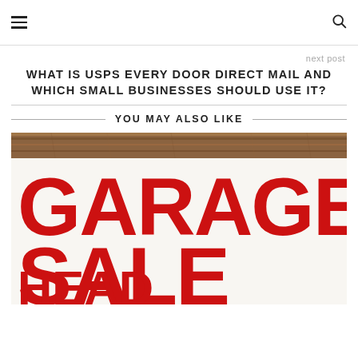Navigation header with hamburger menu and search icon
next post
WHAT IS USPS EVERY DOOR DIRECT MAIL AND WHICH SMALL BUSINESSES SHOULD USE IT?
YOU MAY ALSO LIKE
[Figure (photo): A close-up photo of a red and white garage sale sign with large bold red letters reading GARAGE SALE AHEAD, with a wooden background visible at the top.]